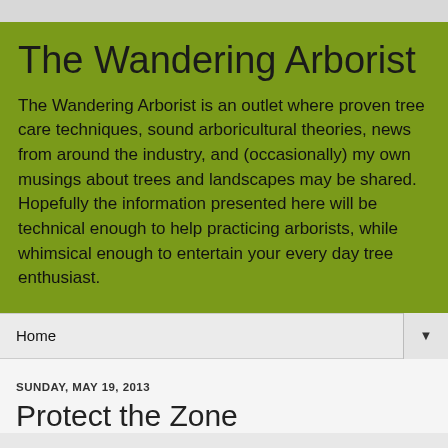The Wandering Arborist
The Wandering Arborist is an outlet where proven tree care techniques, sound arboricultural theories, news from around the industry, and (occasionally) my own musings about trees and landscapes may be shared. Hopefully the information presented here will be technical enough to help practicing arborists, while whimsical enough to entertain your every day tree enthusiast.
Home
SUNDAY, MAY 19, 2013
Protect the Zone